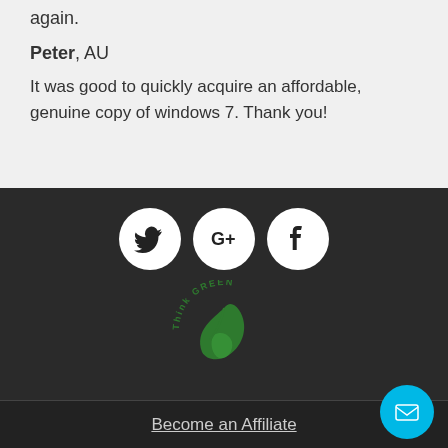again.
Peter, AU
It was good to quickly acquire an affordable, genuine copy of windows 7. Thank you!
[Figure (illustration): Social media icons: Twitter, Google+, Facebook as white circles on dark background, plus a Think Green leaf logo]
Become an Affiliate